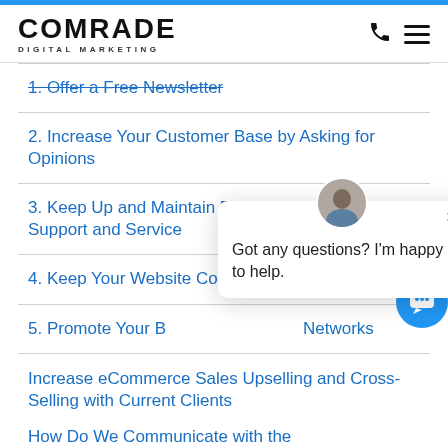COMRADE DIGITAL MARKETING
1. Offer a Free Newsletter
2. Increase Your Customer Base by Asking for Opinions
3. Keep Up and Maintain Excellent Customer Support and Service
4. Keep Your Website Content Fresh
5. Promote Your Business on Social Networks
Increase eCommerce Sales Upselling and Cross-Selling with Current Clients
How Do We Communicate with the
[Figure (screenshot): Chat popup widget with avatar, close button, and message: Got any questions? I'm happy to help.]